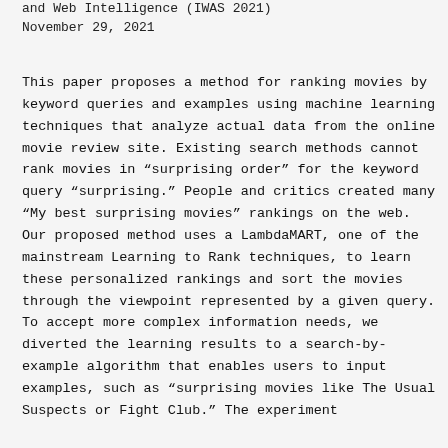and Web Intelligence (IWAS 2021)
November 29, 2021
This paper proposes a method for ranking movies by keyword queries and examples using machine learning techniques that analyze actual data from the online movie review site. Existing search methods cannot rank movies in “surprising order” for the keyword query “surprising.” People and critics created many “My best surprising movies” rankings on the web. Our proposed method uses a LambdaMART, one of the mainstream Learning to Rank techniques, to learn these personalized rankings and sort the movies through the viewpoint represented by a given query. To accept more complex information needs, we diverted the learning results to a search-by-example algorithm that enables users to input examples, such as “surprising movies like The Usual Suspects or Fight Club.” The experiment